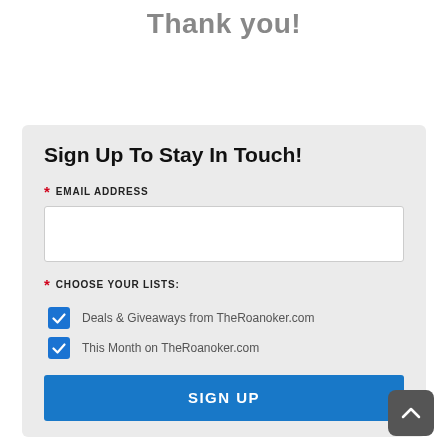Thank you!
Sign Up To Stay In Touch!
* EMAIL ADDRESS
* CHOOSE YOUR LISTS:
Deals & Giveaways from TheRoanoker.com
This Month on TheRoanoker.com
SIGN UP